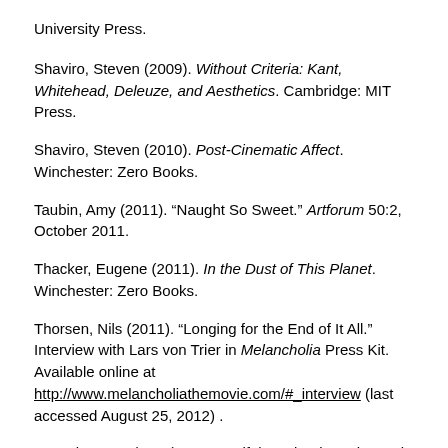University Press.
Shaviro, Steven (2009). Without Criteria: Kant, Whitehead, Deleuze, and Aesthetics. Cambridge: MIT Press.
Shaviro, Steven (2010). Post-Cinematic Affect. Winchester: Zero Books.
Taubin, Amy (2011). “Naught So Sweet.” Artforum 50:2, October 2011.
Thacker, Eugene (2011). In the Dust of This Planet. Winchester: Zero Books.
Thorsen, Nils (2011). “Longing for the End of It All.” Interview with Lars von Trier in Melancholia Press Kit. Available online at http://www.melancholiathemovie.com/#_interview (last accessed August 25, 2012) .
von Trier, Lars (2011). “A Beautiful Movie About the End of...